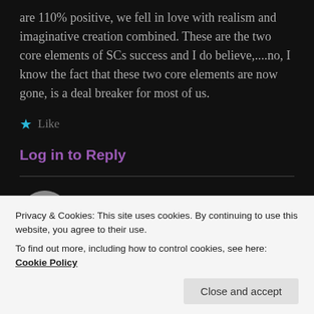are 110% positive, we fell in love with realism and imaginative creation combined. These are the two core elements of SCs success and I do believe,....no, I know the fact that these two core elements are now gone, is a deal breaker for most of us.
★ Like
Log in to Reply
TYLER
Privacy & Cookies: This site uses cookies. By continuing to use this website, you agree to their use. To find out more, including how to control cookies, see here: Cookie Policy
Close and accept